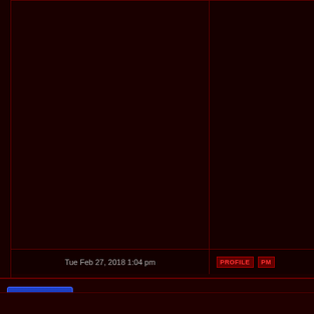[Figure (screenshot): Forum page screenshot with dark red background. Two-column layout: left column (post content area) and right column (user info area), both mostly empty/dark. Bottom shows timestamp 'Tue Feb 27, 2018 1:04 pm', PROFILE and PM buttons, a 'Display posts from p' text, and a footer bar with Post Reply button and page navigation 'Page 1 of 1 [ 1 post ]'.]